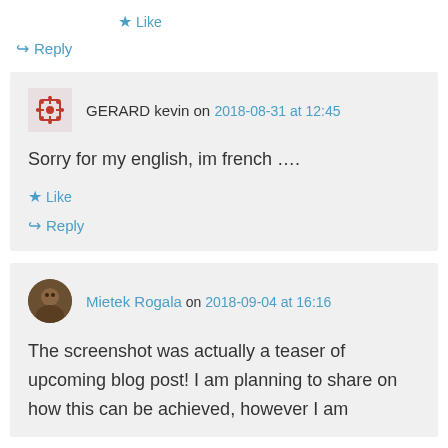★ Like
↪ Reply
GERARD kevin on 2018-08-31 at 12:45
Sorry for my english, im french ….
★ Like
↪ Reply
Mietek Rogala on 2018-09-04 at 16:16
The screenshot was actually a teaser of upcoming blog post! I am planning to share on how this can be achieved, however I am